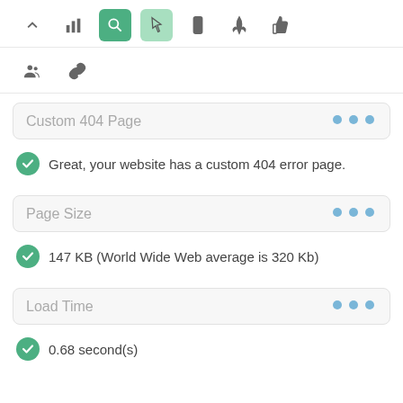[Figure (screenshot): Toolbar with icons: chevron up, bar chart, search (active dark green), pointer (active light green), mobile, rocket, thumbs up]
[Figure (screenshot): Second toolbar row with icons: group/users, chain/link]
Custom 404 Page
Great, your website has a custom 404 error page.
Page Size
147 KB (World Wide Web average is 320 Kb)
Load Time
0.68 second(s)